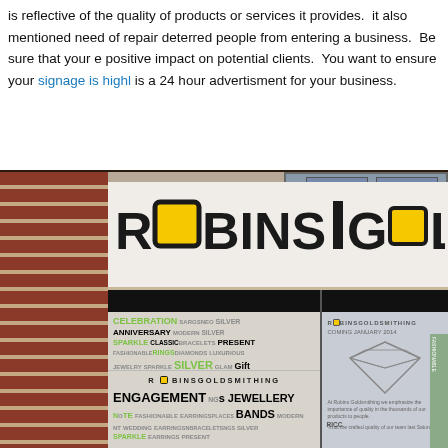is reflective of the quality of products or services it provides.  it also mentioned need of repair deterred people from entering a business.  Be sure that your e positive impact on potential clients.  You want to ensure your signage is highl is a 24 hour advertisment for your business.
[Figure (photo): Street-level photograph of a Robins Goldsmithing jewelry store exterior. Shows a large white fascia sign reading 'ROBINS GOLD' with the O in Robins replaced by a yellow square. Below are large storefront windows featuring word clouds with jewelry-related terms in green and white (CELEBRATION, ANNIVERSARY, SILVER, SPARKLE, EARRINGS, DIAMONDS, etc.), the brand name ROBINSGOLDSMITHING, and ENGAGEMENT, JEWELLERY, BANDS. A second window shows a poster for 'ROBINS GOLDSMITHING - COMING JANUARY 2014' with a diamond graphic. Red brick walls flank the sign.]